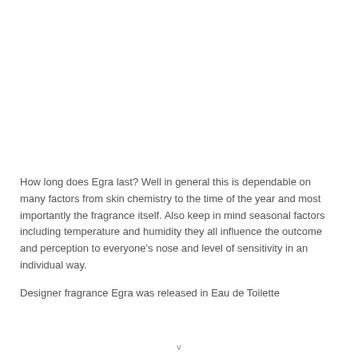How long does Egra last? Well in general this is dependable on many factors from skin chemistry to the time of the year and most importantly the fragrance itself. Also keep in mind seasonal factors including temperature and humidity they all influence the outcome and perception to everyone's nose and level of sensitivity in an individual way.
Designer fragrance Egra was released in Eau de Toilette
v